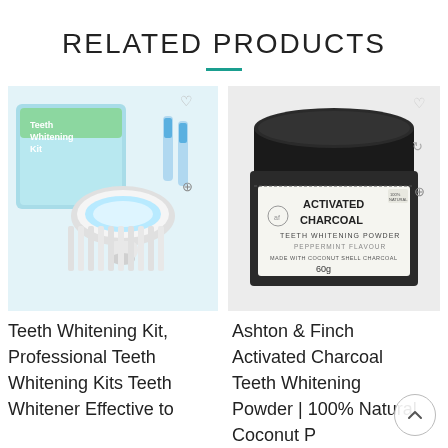RELATED PRODUCTS
[Figure (photo): Teeth whitening kit product photo showing LED mouthpiece device, whitening gel pens, and multiple whitening gel syringes with product box]
[Figure (photo): Ashton & Finch Activated Charcoal Teeth Whitening Powder jar, 60g, peppermint flavour, made with coconut shell charcoal, with black lid]
Teeth Whitening Kit, Professional Teeth Whitening Kits Teeth Whitener Effective to
Ashton & Finch Activated Charcoal Teeth Whitening Powder | 100% Natural Coconut P...